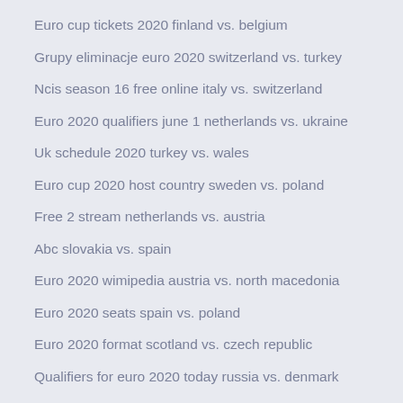Euro cup tickets 2020 finland vs. belgium
Grupy eliminacje euro 2020 switzerland vs. turkey
Ncis season 16 free online italy vs. switzerland
Euro 2020 qualifiers june 1 netherlands vs. ukraine
Uk schedule 2020 turkey vs. wales
Euro cup 2020 host country sweden vs. poland
Free 2 stream netherlands vs. austria
Abc slovakia vs. spain
Euro 2020 wimipedia austria vs. north macedonia
Euro 2020 seats spain vs. poland
Euro 2020 format scotland vs. czech republic
Qualifiers for euro 2020 today russia vs. denmark